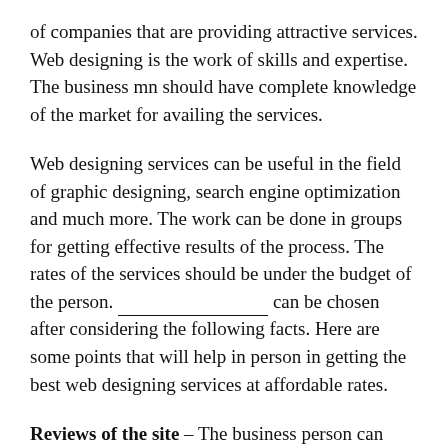of companies that are providing attractive services. Web designing is the work of skills and expertise. The business mn should have complete knowledge of the market for availing the services.
Web designing services can be useful in the field of graphic designing, search engine optimization and much more. The work can be done in groups for getting effective results of the process. The rates of the services should be under the budget of the person. ___________________ can be chosen after considering the following facts. Here are some points that will help in person in getting the best web designing services at affordable rates.
Reviews of the site – The business person can check the reviews of different companies availing web designing services. A contact can be made to the company through a phone call. A helpline number